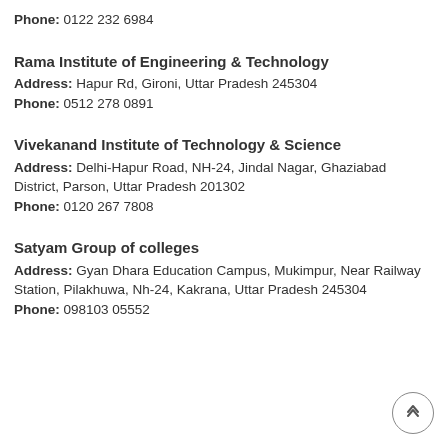Phone: 0122 232 6984
Rama Institute of Engineering & Technology
Address: Hapur Rd, Gironi, Uttar Pradesh 245304
Phone: 0512 278 0891
Vivekanand Institute of Technology & Science
Address: Delhi-Hapur Road, NH-24, Jindal Nagar, Ghaziabad District, Parson, Uttar Pradesh 201302
Phone: 0120 267 7808
Satyam Group of colleges
Address: Gyan Dhara Education Campus, Mukimpur, Near Railway Station, Pilakhuwa, Nh-24, Kakrana, Uttar Pradesh 245304
Phone: 098103 05552